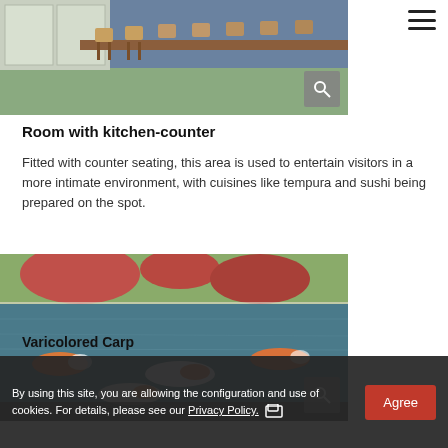[Figure (photo): Interior room with counter seating, wooden chairs and tables, green carpeted floor, shoji screen windows, and blue wall panels.]
Room with kitchen-counter
Fitted with counter seating, this area is used to entertain visitors in a more intimate environment, with cuisines like tempura and sushi being prepared on the spot.
[Figure (photo): Koi pond with varicolored carp swimming in blue water, surrounded by autumn foliage with red and green trees reflected in the water.]
By using this site, you are allowing the configuration and use of cookies. For details, please see our Privacy Policy.
Varicolored Carp